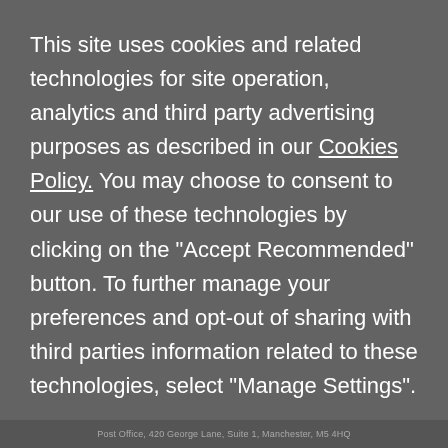This site uses cookies and related technologies for site operation, analytics and third party advertising purposes as described in our Cookies Policy. You may choose to consent to our use of these technologies by clicking on the "Accept Recommended" button. To further manage your preferences and opt-out of sharing with third parties information related to these technologies, select "Manage Settings".
MANAGE SETTINGS
ACCEPT RECOMMENDED
Post Office, 420 George Lane, Suite 1, Manchester, M5 4HQ